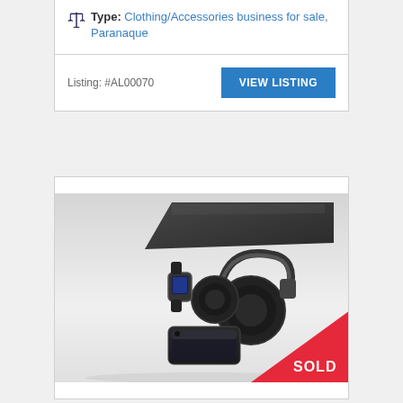Type: Clothing/Accessories business for sale, Paranaque
Listing: #AL00070
VIEW LISTING
[Figure (photo): Photo of headphones, smartphone, smartwatch, and laptop on a white surface. A red SOLD banner is displayed in the bottom-right corner.]